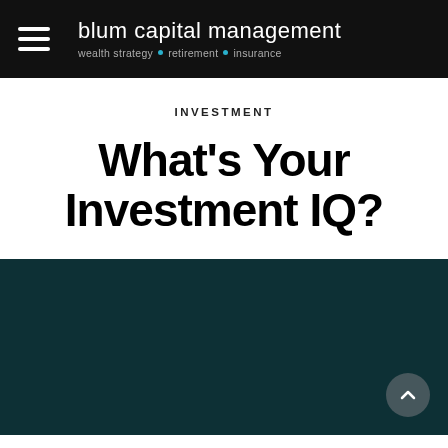blum capital management — wealth strategy • retirement • insurance
INVESTMENT
What's Your Investment IQ?
[Figure (photo): Dark teal/navy background image block with a scroll-to-top button (chevron up icon) in the bottom right corner]